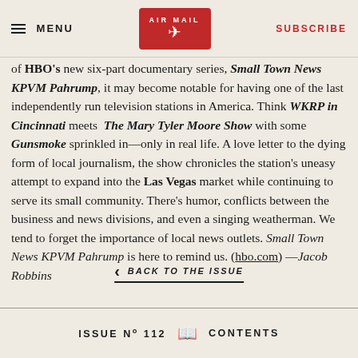MENU | AIR MAIL | SUBSCRIBE
of HBO's new six-part documentary series, Small Town News KPVM Pahrump, it may become notable for having one of the last independently run television stations in America. Think WKRP in Cincinnati meets The Mary Tyler Moore Show with some Gunsmoke sprinkled in—only in real life. A love letter to the dying form of local journalism, the show chronicles the station's unaesy attempt to expand into the Las Vegas market while continuing to serve its small community. There's humor, conflicts between the business and news divisions, and even a singing weatherman. We tend to forget the importance of local news outlets. Small Town News KPVM Pahrump is here to remind us. (hbo.com) —Jacob Robbins
[Figure (other): Back to the Issue navigation button with left arrow chevron]
ISSUE No 112   [book icon]   CONTENTS